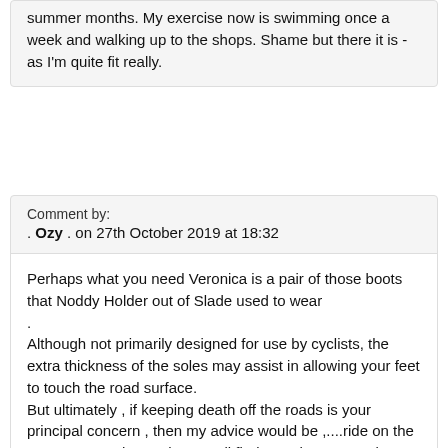summer months. My exercise now is swimming once a week and walking up to the shops. Shame but there it is - as I'm quite fit really.
Comment by:
. Ozy . on 27th October 2019 at 18:32
Perhaps what you need Veronica is a pair of those boots that Noddy Holder out of Slade used to wear .
Although not primarily designed for use by cyclists, the extra thickness of the soles may assist in allowing your feet to touch the road surface.
But ultimately , if keeping death off the roads is your principal concern , then my advice would be ,....ride on the pavements...That's when you'll find out who your real friends are.